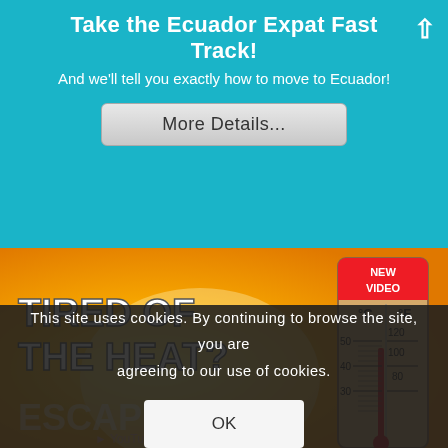Take the Ecuador Expat Fast Track!
And we'll tell you exactly how to move to Ecuador!
More Details...
[Figure (photo): Photo showing a wooden thermometer with Celsius and Fahrenheit scales reading very high temperature. Red banner saying 'NEW VIDEO'. Bold white text overlay: 'TIRED OF THE HEAT?' and 'ESCAPE IT'. Orange/yellow background suggesting heat. Bottom text partially visible: YouTube /Ameli...]
This site uses cookies. By continuing to browse the site, you are agreeing to our use of cookies.
OK